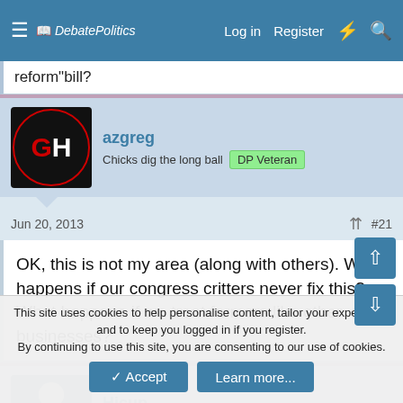DebatePolitics — Log in  Register
reform"bill?
azgreg
Chicks dig the long ball  DP Veteran
Jun 20, 2013  #21
OK, this is not my area (along with others). What happens if our congress critters never fix this? What happens if we treat farmers like other businesses?
Hicup
DP Veteran
Jun 21, 2013  #22
This site uses cookies to help personalise content, tailor your experience and to keep you logged in if you register.
By continuing to use this site, you are consenting to our use of cookies.